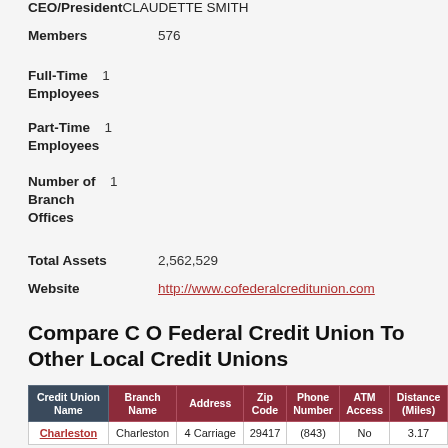CEO/PresidentCLAUDETTE SMITH
Members  576
Full-Time Employees  1
Part-Time Employees  1
Number of Branch Offices  1
Total Assets  2,562,529
Website  http://www.cofederalcreditunion.com
Compare C O Federal Credit Union To Other Local Credit Unions
| Credit Union Name | Branch Name | Address | Zip Code | Phone Number | ATM Access | Distance (Miles) |
| --- | --- | --- | --- | --- | --- | --- |
| Charleston | Charleston | 4 Carriage | 29417 | (843) | No | 3.17 |